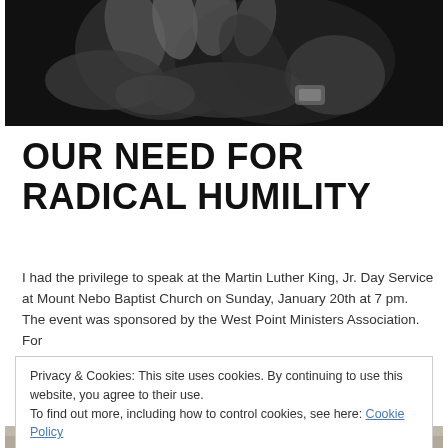[Figure (photo): Black and white close-up photograph of hands clasped together]
OUR NEED FOR RADICAL HUMILITY
I had the privilege to speak at the Martin Luther King, Jr. Day Service at Mount Nebo Baptist Church on Sunday, January 20th at 7 pm.  The event was sponsored by the West Point Ministers Association.  For
Privacy & Cookies: This site uses cookies. By continuing to use this website, you agree to their use.
To find out more, including how to control cookies, see here: Cookie Policy
Close and accept
[Figure (photo): Partial view of another photograph at the bottom of the page]